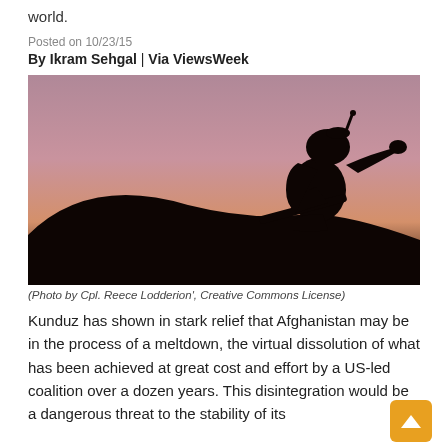world.
Posted on 10/23/15
By Ikram Sehgal | Via ViewsWeek
[Figure (photo): Silhouette of a soldier in helmet pointing against a purple/pink sunset sky, holding a rifle, crouching on a hillside.]
(Photo by Cpl. Reece Lodderion', Creative Commons License)
Kunduz has shown in stark relief that Afghanistan may be in the process of a meltdown, the virtual dissolution of what has been achieved at great cost and effort by a US-led coalition over a dozen years. This disintegration would be a dangerous threat to the stability of its